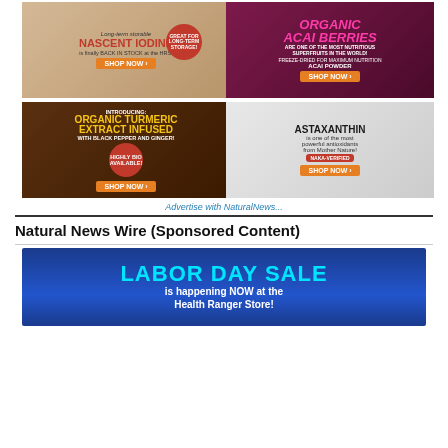[Figure (advertisement): Nascent Iodine - Long-term storable is finally BACK IN STOCK at the HRS! GREAT FOR LONG-TERM STORAGE! SHOP NOW]
[Figure (advertisement): ORGANIC ACAI BERRIES ARE ONE OF THE MOST NUTRITIOUS SUPERFRUITS IN THE WORLD! FREEZE-DRIED FOR MAXIMUM NUTRITION ACAI POWDER SHOP NOW]
[Figure (advertisement): INTRODUCING: ORGANIC TURMERIC EXTRACT INFUSED WITH BLACK PEPPER AND GINGER! HIGHLY BIO AVAILABLE! SHOP NOW]
[Figure (advertisement): ASTAXANTHIN is one of the most powerful antioxidants from Mother Nature! NAKA-VERIFIED SHOP NOW]
Advertise with NaturalNews...
Natural News Wire (Sponsored Content)
[Figure (advertisement): LABOR DAY SALE is happening NOW at the Health Ranger Store!]